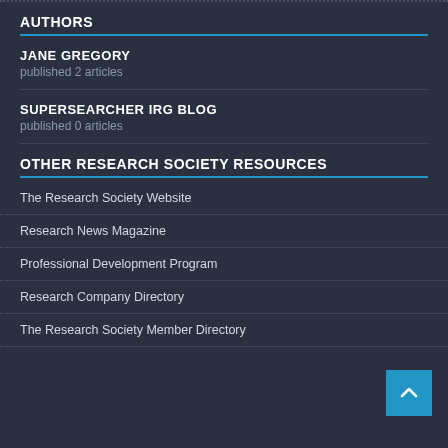AUTHORS
JANE GREGORY
published 2 articles
SUPERSEARCHER IRG BLOG
published 0 articles
OTHER RESEARCH SOCIETY RESOURCES
The Research Society Website
Research News Magazine
Professional Development Program
Research Company Directory
The Research Society Member Directory